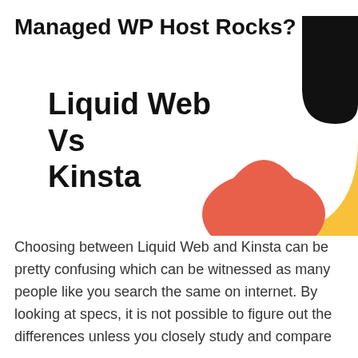Managed WP Host Rocks?
[Figure (illustration): Decorative geometric shapes: a black rounded triangle in top-right, a yellow quarter-circle in right-center, and a coral/red half-circle at bottom-center of the graphic area.]
Liquid Web Vs Kinsta
Choosing between Liquid Web and Kinsta can be pretty confusing which can be witnessed as many people like you search the same on internet. By looking at specs, it is not possible to figure out the differences unless you closely study and compare